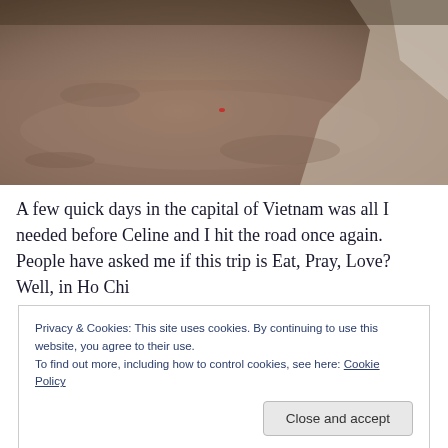[Figure (photo): A photograph of what appears to be a cave or tunnel interior with sandy/rocky floor and walls, brownish-grey tones, with some lighter rocky formations visible on the right side.]
A few quick days in the capital of Vietnam was all I needed before Celine and I hit the road once again. People have asked me if this trip is Eat, Pray, Love? Well, in Ho Chi
Privacy & Cookies: This site uses cookies. By continuing to use this website, you agree to their use.
To find out more, including how to control cookies, see here: Cookie Policy
Close and accept